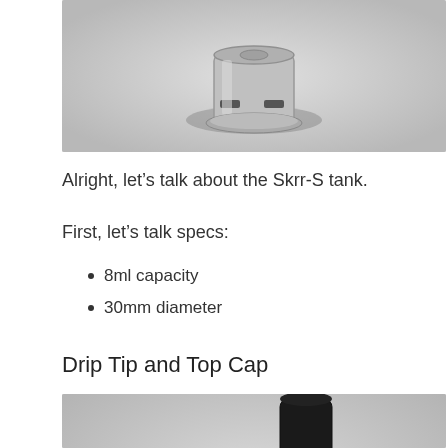[Figure (photo): Top-down or angled view of the Skrr-S tank showing its metallic base and airflow slots on a light gray background]
Alright, let’s talk about the Skrr-S tank.
First, let’s talk specs:
8ml capacity
30mm diameter
Drip Tip and Top Cap
[Figure (photo): Photo showing a black cylindrical drip tip and a red and silver top cap component of the Skrr-S tank, on gray background]